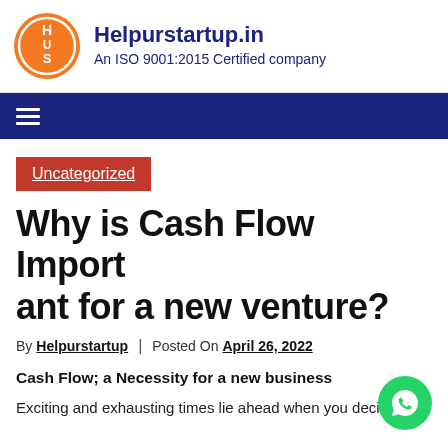Helpurstartup.in — An ISO 9001:2015 Certified company
[Figure (logo): Helpurstartup.in orange circular logo with H, U, S letters]
Uncategorized
Why is Cash Flow Important for a new venture?
By Helpurstartup | Posted On April 26, 2022
Cash Flow; a Necessity for a new business
Exciting and exhausting times lie ahead when you decide to